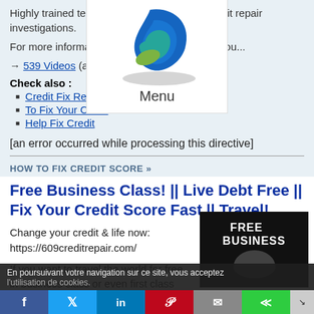Highly trained team … credit repair investigations.
For more information … credit you...
→ 539 Videos (an … ic
Check also :
Credit Fix Repair Report
To Fix Your Credit
Help Fix Credit
[an error occurred while processing this directive]
[Figure (logo): Blue and green wave logo with shadow, Menu label below]
HOW TO FIX CREDIT SCORE »
Free Business Class! || Live Debt Free || Fix Your Credit Score Fast || Travel!
Change your credit & life now: https://609creditrepair.com/
If you want to travel the world for free in business class or even first class
[Figure (screenshot): Video thumbnail showing FREE BUSINESS text with person]
En poursuivant votre navigation sur ce site, vous acceptez l'utilisation de cookies.